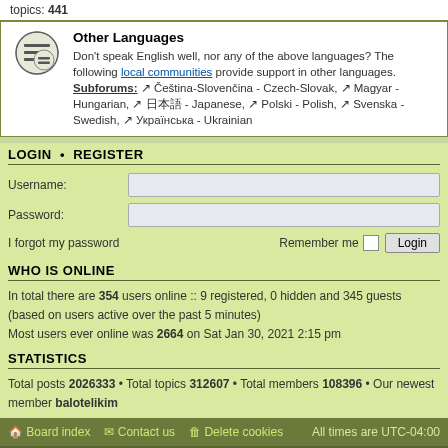topics: 441
Other Languages
Don't speak English well, nor any of the above languages? The following local communities provide support in other languages.
Subforums: Čeština-Slovenčina - Czech-Slovak, Magyar - Hungarian, 日本語 - Japanese, Polski - Polish, Svenska - Swedish, Українська - Ukrainian
LOGIN • REGISTER
Username:
Password:
I forgot my password
Remember me
Login
WHO IS ONLINE
In total there are 354 users online :: 9 registered, 0 hidden and 345 guests (based on users active over the past 5 minutes)
Most users ever online was 2664 on Sat Jan 30, 2021 2:15 pm
STATISTICS
Total posts 2026333 • Total topics 312607 • Total members 108396 • Our newest member balotelikim
Board index  Contact us  Delete cookies  All times are UTC-04:00
By continuing to use this website, you consent to the use of cookies in accordance with our Cookies Policy